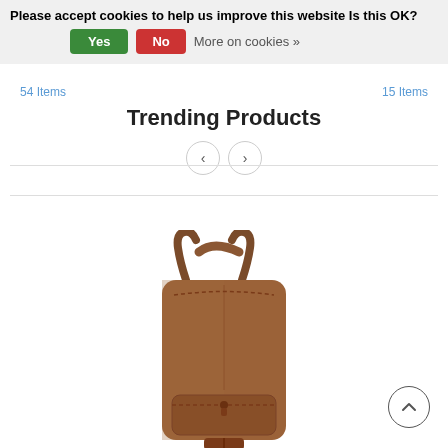Please accept cookies to help us improve this website Is this OK?  Yes  No  More on cookies »
54 Items
15 Items
Trending Products
[Figure (photo): Brown leather backpack product photo on white background]
[Figure (other): Scroll-to-top circular arrow button]